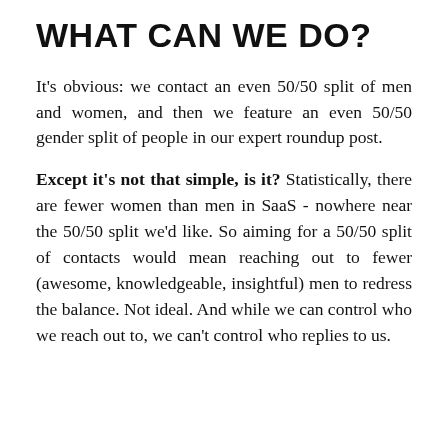WHAT CAN WE DO?
It's obvious: we contact an even 50/50 split of men and women, and then we feature an even 50/50 gender split of people in our expert roundup post.
Except it's not that simple, is it? Statistically, there are fewer women than men in SaaS - nowhere near the 50/50 split we'd like. So aiming for a 50/50 split of contacts would mean reaching out to fewer (awesome, knowledgeable, insightful) men to redress the balance. Not ideal. And while we can control who we reach out to, we can't control who replies to us.